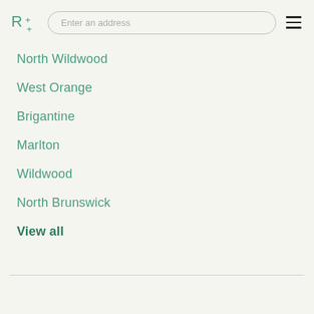Rx+ — Enter an address
North Wildwood
West Orange
Brigantine
Marlton
Wildwood
North Brunswick
View all